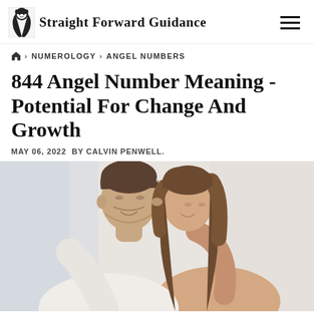Straight Forward Guidance
🏠 › NUMEROLOGY › ANGEL NUMBERS
844 Angel Number Meaning - Potential For Change And Growth
MAY 06, 2022  BY CALVIN PENWELL.
[Figure (photo): A young couple facing each other and touching foreheads in an intimate moment, soft bright background]